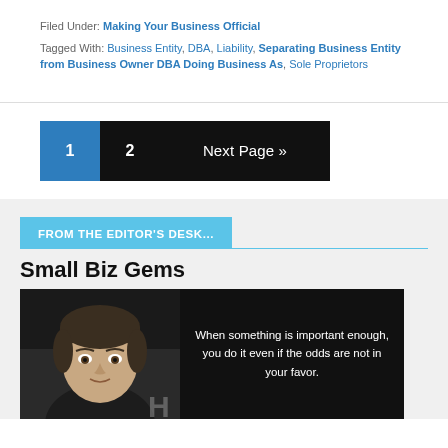Filed Under: Making Your Business Official
Tagged With: Business Entity, DBA, Liability, Separating Business Entity from Business Owner DBA Doing Business As, Sole Proprietors
1
2
Next Page »
FROM THE EDITOR'S DESK...
Small Biz Gems
[Figure (photo): Photo of a person with dark hair on a black background, next to a quote: 'When something is important enough, you do it even if the odds are not in your favor.']